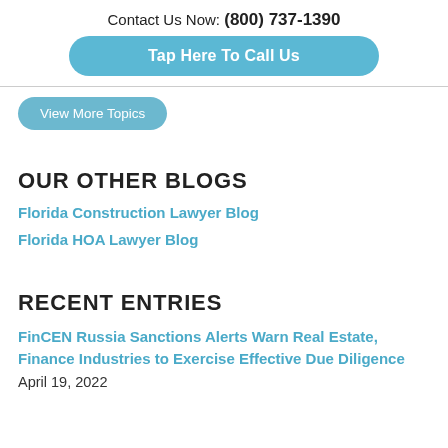Contact Us Now: (800) 737-1390
Tap Here To Call Us
View More Topics
OUR OTHER BLOGS
Florida Construction Lawyer Blog
Florida HOA Lawyer Blog
RECENT ENTRIES
FinCEN Russia Sanctions Alerts Warn Real Estate, Finance Industries to Exercise Effective Due Diligence
April 19, 2022